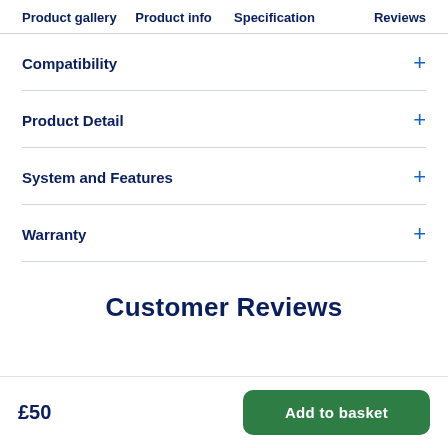Product gallery   Product info   Specification   Reviews
Compatibility
Product Detail
System and Features
Warranty
Customer Reviews
£50
Add to basket